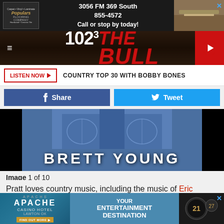[Figure (screenshot): Top advertisement banner: flooring company logo on left, text '3056 FM 369 South 855-4572 Call or stop by today!' center, flooring photo on right]
[Figure (logo): 102.3 The Bull radio station navigation bar with hamburger menu, station logo, and red play button]
LISTEN NOW ▶  COUNTRY TOP 30 WITH BOBBY BONES
[Figure (screenshot): Facebook Share button (blue) and Twitter Tweet button (light blue) social sharing row]
[Figure (photo): Brett Young artist promotional image showing denim jeans close-up with 'BRETT YOUNG' text overlay in white]
Image 1 of 10
Pratt loves country music, including the music of Eric Church, which he listened to when he was working on
[Figure (screenshot): Apache Casino Hotel Lawton OK advertisement banner with 'YOUR ENTERTAINMENT DESTINATION' text and casino imagery]